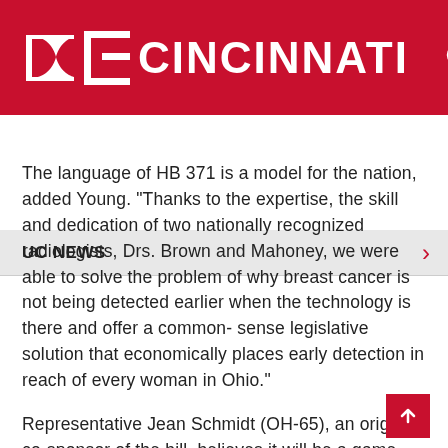[Figure (logo): University of Cincinnati logo and wordmark in white on red header background with search icon]
UC NEWS
The language of HB 371 is a model for the nation, added Young. “Thanks to the expertise, the skill and dedication of two nationally recognized radiologists, Drs. Brown and Mahoney, we were able to solve the problem of why breast cancer is not being detected earlier when the technology is there and offer a common- sense legislative solution that economically places early detection in reach of every woman in Ohio."
Representative Jean Schmidt (OH-65), an original co-sponsor of the bill, believes it will be a game changer for women, adding, “The Breast Cancer Bill is truly an economical, effective, and lifesaving piece of bipartisan legislation that will help all women in Ohio."